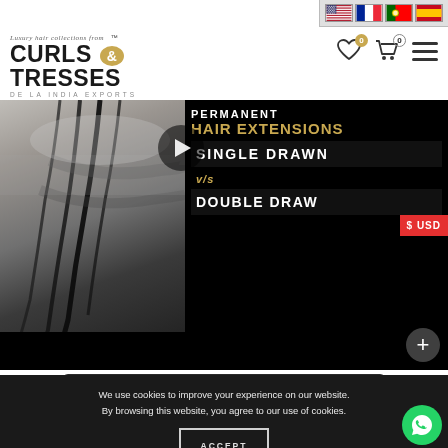[Figure (screenshot): Language flag selector showing US, French, Portuguese, and Spanish flags in top-right corner]
[Figure (logo): Curls & Tresses De La India Exports logo with tagline 'Luxury hair collections from']
[Figure (screenshot): Navigation header icons: wishlist with badge 0, cart with badge 0, hamburger menu]
[Figure (photo): Video thumbnail showing hair extensions promotional content: PERMANENT HAIR EXTENSIONS SINGLE DRAWN v/s DOUBLE DRAWN with play button overlay]
CLICK HERE TO WATCH MORE VIDEOS
We use cookies to improve your experience on our website. By browsing this website, you agree to our use of cookies.
ACCEPT
FEATURED